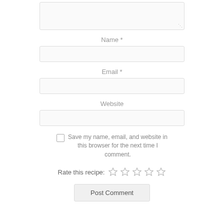[Figure (screenshot): A text area input box (partially visible at top), partially cropped]
Name *
[Figure (screenshot): Name text input field]
Email *
[Figure (screenshot): Email text input field]
Website
[Figure (screenshot): Website text input field]
Save my name, email, and website in this browser for the next time I comment.
Rate this recipe: ★ ★ ★ ★ ★
Post Comment